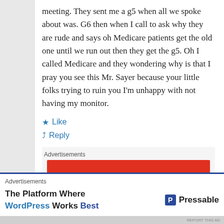meeting. They sent me a g5 when all we spoke about was. G6 then when I call to ask why they are rude and says oh Medicare patients get the old one until we run out then they get the g5. Oh I called Medicare and they wondering why is that I pray you see this Mr. Sayer because your little folks trying to ruin you I'm unhappy with not having my monitor.
Like
Reply
Advertisements
[Figure (other): Red advertisement banner]
Advertisements
[Figure (other): Pressable WordPress advertisement: The Platform Where WordPress Works Best]